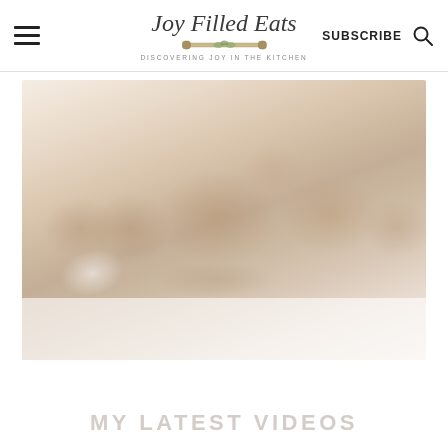Joy Filled Eats — DISCOVERING JOY IN THE KITCHEN — SUBSCRIBE
[Figure (photo): Blurred/faded photo of bear-shaped cookies or teddy bear cookies on a baking tray, with a soft beige and tan color palette]
MY LATEST VIDEOS